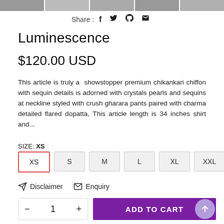[Figure (photo): Strip of product thumbnail images at the top]
Share : f  ꝩ  ℗  ✉
Luminescence
$120.00 USD
This article is truly a  showstopper premium chikankari chiffon with sequin details is adorned with crystals pearls and sequins at neckline styled with crush gharara pants paired with charma detailed flared dopatta, This article length is 34 inches shirt and...
SIZE: XS
XS  S  M  L  XL  XXL
Disclaimer  Enquiry
− 1 +  ADD TO CART